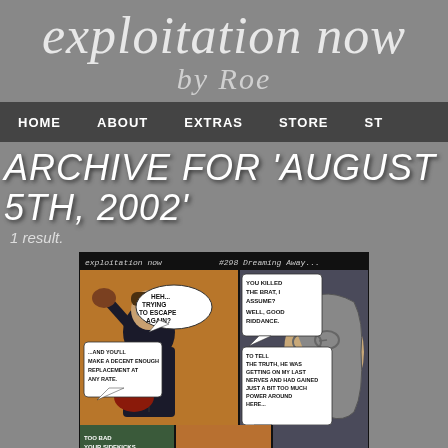exploitation now by Roe
HOME  ABOUT  EXTRAS  STORE  ST
ARCHIVE FOR 'AUGUST 5TH, 2002'
1 result.
[Figure (illustration): Comic strip panel from 'exploitation now' #298 'Dreaming Away...' showing two characters — one in a suit holding up another person, with speech bubbles: 'Heh... Trying to escape again?', 'You killed the brat, I assume?', 'Well, good riddance.', 'To tell the truth, he was getting on my last nerves and had gained just a bit too much power around here...', '...and you'll make a decent enough replacement at any rate.', 'Too bad your sidekicks' (partial)]